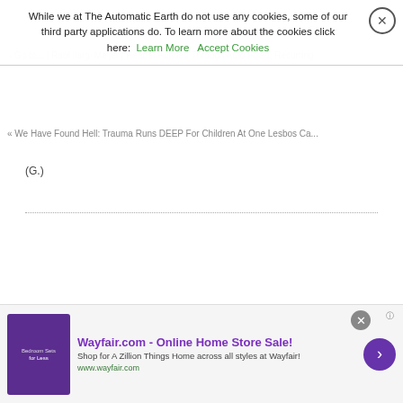While we at The Automatic Earth do not use any cookies, some of our third party applications do. To learn more about the cookies click here: Learn More  Accept Cookies
« We Have Found Hell: Trauma Runs DEEP For Children At One Lesbos Ca... (G.)
First, here’s Ted Koppel agreeing with me that Trump Sells Better Than Sex, and Stelter really doesn’t understand:
Video: To consternation of @BrianStelter, Ted Koppel contended during 10/1 Kalb Report @PressClubDC: “You would be lost without @realDonaldTrump. CNN’s ratings would be in the toilet without Trump.” Stelter: “Ted, you know that’s not true. You’re playing for
[Figure (screenshot): Advertisement banner for Wayfair.com Online Home Store Sale with purple bedroom furniture image, Wayfair logo, and arrow button]